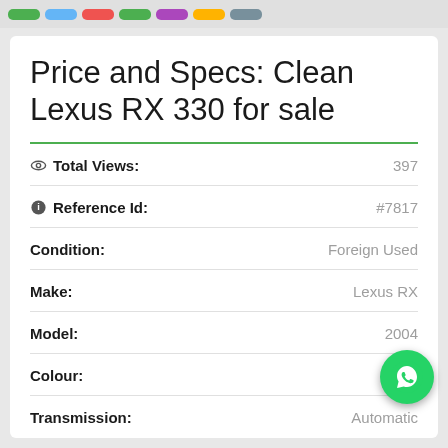Price and Specs: Clean Lexus RX 330 for sale
| Field | Value |
| --- | --- |
| Total Views: | 397 |
| Reference Id: | #7817 |
| Condition: | Foreign Used |
| Make: | Lexus RX |
| Model: | 2004 |
| Colour: | Other |
| Transmission: | Automatic |